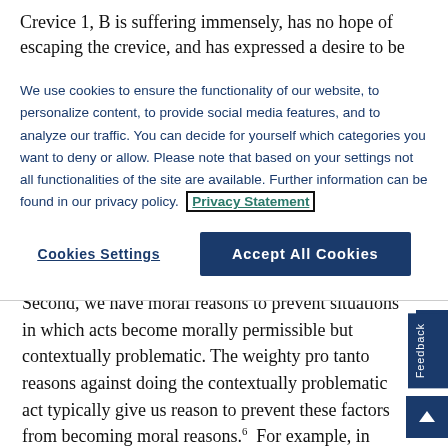Crevice 1, B is suffering immensely, has no hope of escaping the crevice, and has expressed a desire to be
We use cookies to ensure the functionality of our website, to personalize content, to provide social media features, and to analyze our traffic. You can decide for yourself which categories you want to deny or allow. Please note that based on your settings not all functionalities of the site are available. Further information can be found in our privacy policy. Privacy Statement
Cookies Settings
Accept All Cookies
Second, we have moral reasons to prevent situations in which acts become morally permissible but contextually problematic. The weighty pro tanto reasons against doing the contextually problematic act typically give us reason to prevent these factors from becoming moral reasons.6  For example, in Crevice 1, 3, and 3* someone gets killed. If we think that we ought